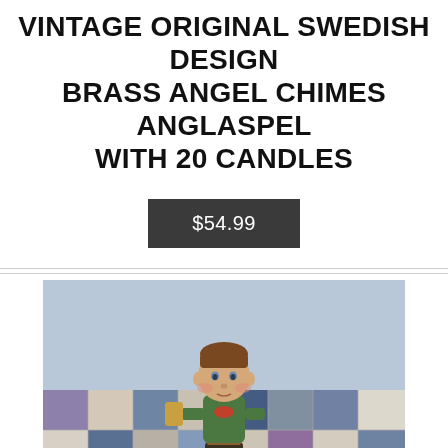VINTAGE ORIGINAL SWEDISH DESIGN BRASS ANGEL CHIMES ANGLASPEL WITH 20 CANDLES
$54.99
[Figure (photo): A Hummel-style ceramic figurine of a boy holding something, standing on a round base, on a patchwork quilt background with blue, white, and purple fabric squares.]